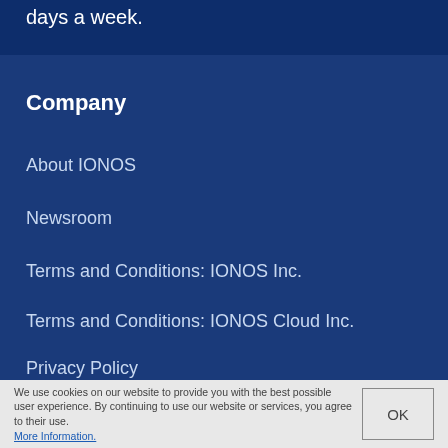days a week.
Company
About IONOS
Newsroom
Terms and Conditions: IONOS Inc.
Terms and Conditions: IONOS Cloud Inc.
Privacy Policy
Careers
We use cookies on our website to provide you with the best possible user experience. By continuing to use our website or services, you agree to their use. More Information.